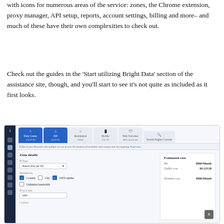with icons for numerous areas of the service: zones, the Chrome extension, proxy manager, API setup, reports, account settings, billing and more– and much of these have their own complexities to check out.
Check out the guides in the 'Start utilizing Bright Data' section of the assistance site, though, and you'll start to see it's not quite as included as it first looks.
[Figure (screenshot): Screenshot of Bright Data dashboard showing proxy zone configuration interface with sidebar navigation, product tabs (Data Center, ISP, Residential, Mobile, Web Unlocker, Search Engine Crawler), zone details form (IP type dropdown: Shared Pay per IP, permissions checkboxes for Country/City/100% uptime, Unlimited bandwidth, IP pool size: 1000, Country), and Estimated cost panel showing IPs: $900/Month, Traffic cost: $0.12/GB, Monthly cost: $900/Month]